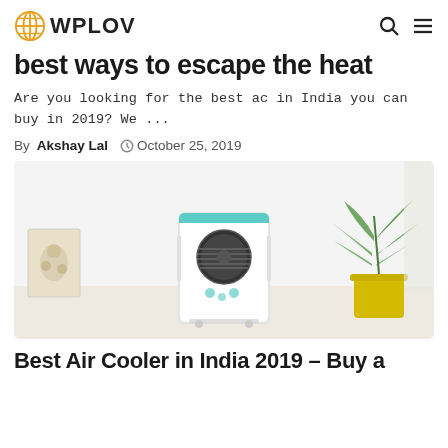WPLOV
best ways to escape the heat
Are you looking for the best ac in India you can buy in 2019? We ...
By Akshay Lal  October 25, 2019
[Figure (photo): Photo of a white air cooler appliance placed on a wooden surface in a bright white room, with a floral painting on the left and a yellow pot with a green plant on the right.]
Best Air Cooler in India 2019 – Buy a